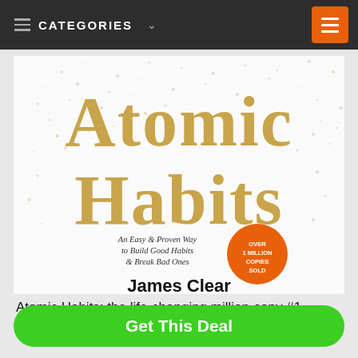≡ CATEGORIES ∨
[Figure (illustration): Book cover of 'Atomic Habits' by James Clear. Large golden dotted text reads 'Atomic Habits'. Below: 'An Easy & Proven Way to Build Good Habits & Break Bad Ones' with an orange circle badge reading 'OVER 1 MILLION COPIES SOLD'. Author name 'James Clear' in bold black text at bottom of cover.]
Atomic Habits: the life-changing million-copy #1 bestseller...
Get This Deal